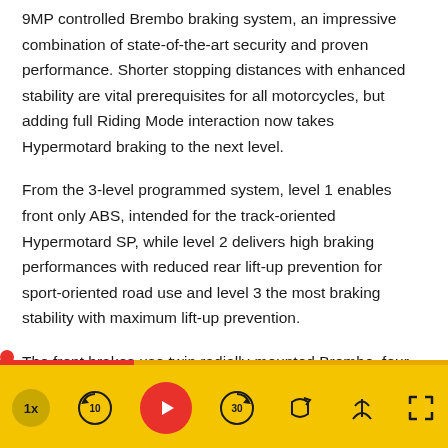9MP controlled Brembo braking system, an impressive combination of state-of-the-art security and proven performance. Shorter stopping distances with enhanced stability are vital prerequisites for all motorcycles, but adding full Riding Mode interaction now takes Hypermotard braking to the next level.
From the 3-level programmed system, level 1 enables front only ABS, intended for the track-oriented Hypermotard SP, while level 2 delivers high braking performances with reduced rear lift-up prevention for sport-oriented road use and level 3 the most braking stability with maximum lift-up prevention.
The front brakes use twin radially-mounted Brembo, four